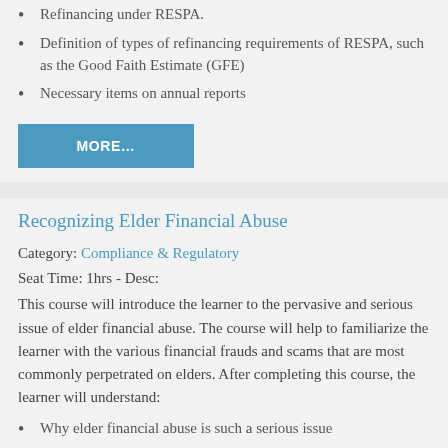Refinancing under RESPA.
Definition of types of refinancing requirements of RESPA, such as the Good Faith Estimate (GFE)
Necessary items on annual reports
MORE…
Recognizing Elder Financial Abuse
Category: Compliance & Regulatory
Seat Time: 1hrs - Desc:
This course will introduce the learner to the pervasive and serious issue of elder financial abuse. The course will help to familiarize the learner with the various financial frauds and scams that are most commonly perpetrated on elders. After completing this course, the learner will understand:
Why elder financial abuse is such a serious issue